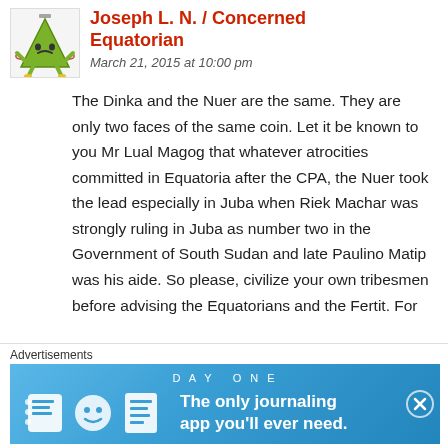[Figure (illustration): Avatar/avatar icon of a cartoon green triangle character with arms and legs, appearing unhappy or grumpy]
Joseph L. N. / Concerned Equatorian
March 21, 2015 at 10:00 pm
The Dinka and the Nuer are the same. They are only two faces of the same coin. Let it be known to you Mr Lual Magog that whatever atrocities committed in Equatoria after the CPA, the Nuer took the lead especially in Juba when Riek Machar was strongly ruling in Juba as number two in the Government of South Sudan and late Paulino Matip was his aide. So please, civilize your own tribesmen before advising the Equatorians and the Fertit. For
Advertisements
[Figure (screenshot): Day One journaling app advertisement banner with blue background, app icon illustrations, and text 'DAY ONE — The only journaling app you'll ever need.']